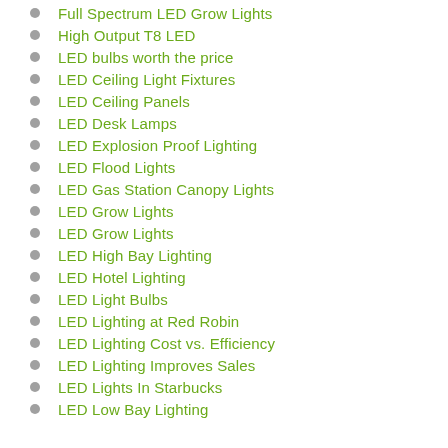Full Spectrum LED Grow Lights
High Output T8 LED
LED bulbs worth the price
LED Ceiling Light Fixtures
LED Ceiling Panels
LED Desk Lamps
LED Explosion Proof Lighting
LED Flood Lights
LED Gas Station Canopy Lights
LED Grow Lights
LED Grow Lights
LED High Bay Lighting
LED Hotel Lighting
LED Light Bulbs
LED Lighting at Red Robin
LED Lighting Cost vs. Efficiency
LED Lighting Improves Sales
LED Lights In Starbucks
LED Low Bay Lighting